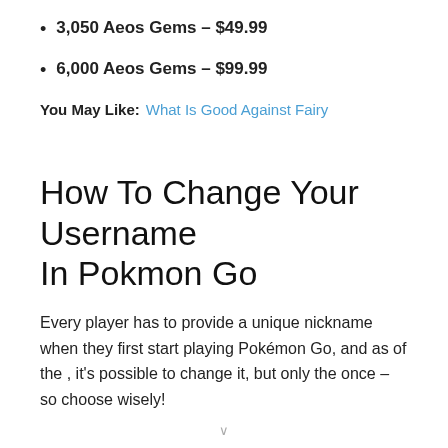3,050 Aeos Gems – $49.99
6,000 Aeos Gems – $99.99
You May Like:  What Is Good Against Fairy
How To Change Your Username In Pokmon Go
Every player has to provide a unique nickname when they first start playing Pokémon Go, and as of the , it's possible to change it, but only the once – so choose wisely!